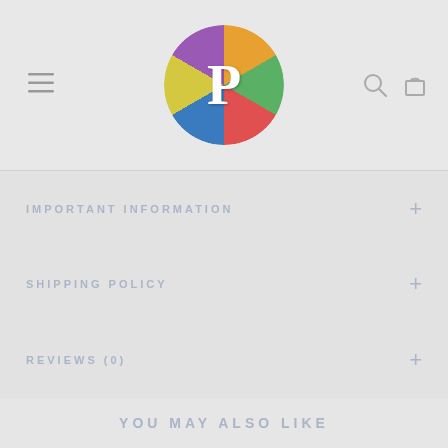[Figure (logo): Circular puzzle-piece logo with colorful segments and white letter P in the center]
IMPORTANT INFORMATION
SHIPPING POLICY
REVIEWS (0)
YOU MAY ALSO LIKE